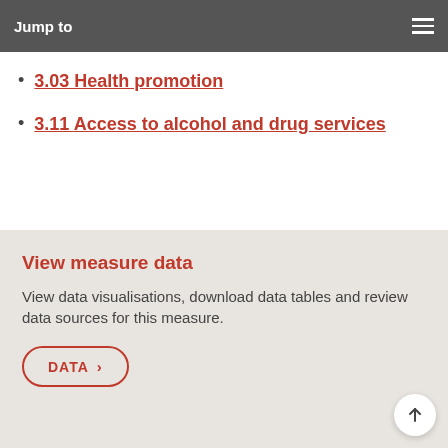Jump to
3.03 Health promotion
3.11 Access to alcohol and drug services
View measure data
View data visualisations, download data tables and review data sources for this measure.
DATA >